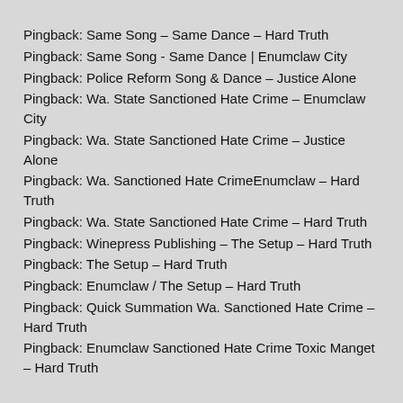Pingback: Same Song – Same Dance – Hard Truth
Pingback: Same Song - Same Dance | Enumclaw City
Pingback: Police Reform Song & Dance – Justice Alone
Pingback: Wa. State Sanctioned Hate Crime – Enumclaw City
Pingback: Wa. State Sanctioned Hate Crime – Justice Alone
Pingback: Wa. Sanctioned Hate CrimeEnumclaw – Hard Truth
Pingback: Wa. State Sanctioned Hate Crime – Hard Truth
Pingback: Winepress Publishing – The Setup – Hard Truth
Pingback: The Setup – Hard Truth
Pingback: Enumclaw / The Setup – Hard Truth
Pingback: Quick Summation Wa. Sanctioned Hate Crime – Hard Truth
Pingback: Enumclaw Sanctioned Hate Crime Toxic Manget – Hard Truth